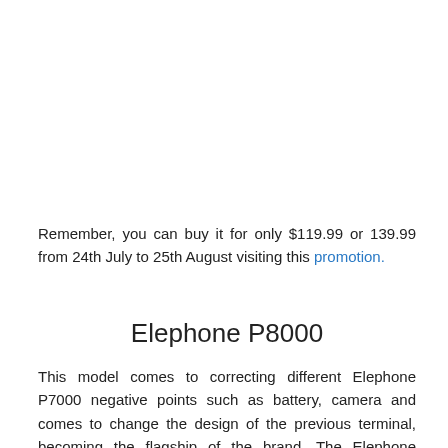Remember, you can buy it for only $119.99 or 139.99 from 24th July to 25th August visiting this promotion.
Elephone P8000
This model comes to correcting different Elephone P7000 negative points such as battery, camera and comes to change the design of the previous terminal, becoming the flagship of the brand. The Elephone P8000 has been redesigned changing to more curved edges made of metal. The construction of this terminal makes it seem a premium range including its features, such as the latest made by Mediatek.